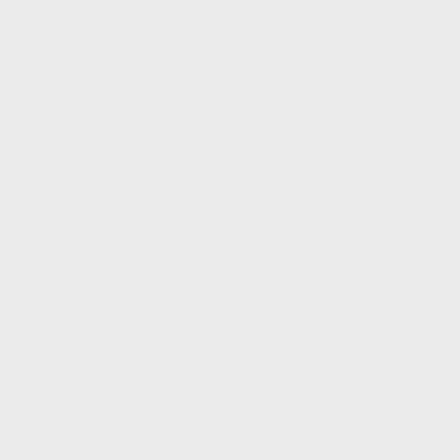Voting along with everyone else, and some communities have, or have had, Filipino mayor